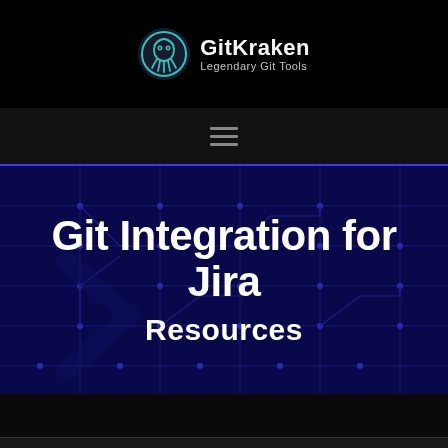GitKraken Legendary Git Tools
[Figure (logo): GitKraken logo: teal octopus-like icon with text 'GitKraken' and tagline 'Legendary Git Tools']
Git Integration for Jira
Resources
[Figure (illustration): Dark blue hero background with circuit board / network node pattern in navy blue]